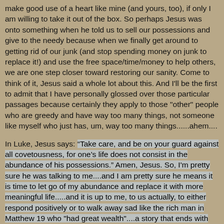make good use of a heart like mine (and yours, too), if only I am willing to take it out of the box. So perhaps Jesus was onto something when he told us to sell our possessions and give to the needy because when we finally get around to getting rid of our junk (and stop spending money on junk to replace it!) and use the free space/time/money to help others, we are one step closer toward restoring our sanity. Come to think of it, Jesus said a whole lot about this. And I'll be the first to admit that I have personally glossed over those particular passages because certainly they apply to those "other" people who are greedy and have way too many things, not someone like myself who just has, um, way too many things......ahem....
In Luke, Jesus says: “Take care, and be on your guard against all covetousness, for one’s life does not consist in the abundance of his possessions.” Amen, Jesus. So, I'm pretty sure he was talking to me....and I am pretty sure he means it is time to let go of my abundance and replace it with more meaningful life.....and it is up to me, to us actually, to either respond positively or to walk away sad like the rich man in Matthew 19 who "had great wealth"....a story that ends with